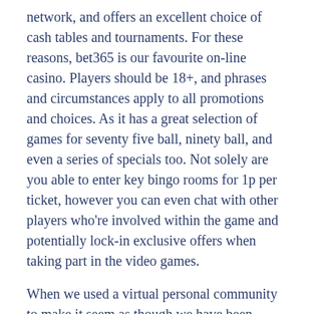network, and offers an excellent choice of cash tables and tournaments. For these reasons, bet365 is our favourite on-line casino. Players should be 18+, and phrases and circumstances apply to all promotions and choices. As it has a great selection of games for seventy five ball, ninety ball, and even a series of specials too. Not solely are you able to enter key bingo rooms for 1p per ticket, however you can even chat with other players who're involved within the game and potentially lock-in exclusive offers when taking part in the video games.
When we used a virtual personal community to make it seem as though we have been primarily based in China, we discovered no problem in accessing bet365's web site. Valid for brand spanking new UK clients who've registered from 31/03/2020.